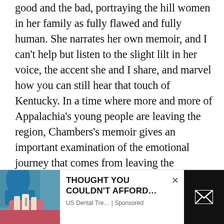good and the bad, portraying the hill women in her family as fully flawed and fully human. She narrates her own memoir, and I can't help but listen to the slight lilt in her voice, the accent she and I share, and marvel how you can still hear that touch of Kentucky. In a time where more and more of Appalachia's young people are leaving the region, Chambers's memoir gives an important examination of the emotional journey that comes from leaving the mountains and realizing how the world sees the culture you love and what strength and grit it takes to return and try to make it better.
[Figure (photo): Dental advertisement showing a gloved hand holding dental implant models with a tooth model, blue gloves visible]
THOUGHT YOU COULDN'T AFFORD... US Dental Tre... | Sponsored